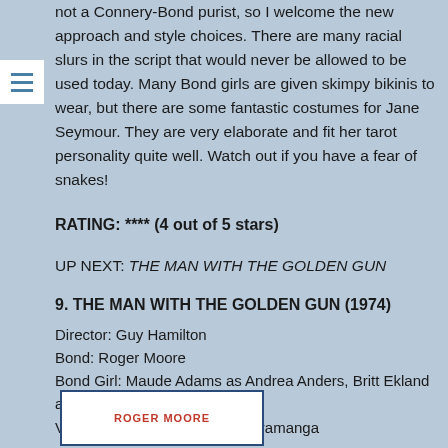not a Connery-Bond purist, so I welcome the new approach and style choices. There are many racial slurs in the script that would never be allowed to be used today. Many Bond girls are given skimpy bikinis to wear, but there are some fantastic costumes for Jane Seymour. They are very elaborate and fit her tarot personality quite well. Watch out if you have a fear of snakes!
RATING: **** (4 out of 5 stars)
UP NEXT: THE MAN WITH THE GOLDEN GUN
9. THE MAN WITH THE GOLDEN GUN (1974)
Director: Guy Hamilton
Bond: Roger Moore
Bond Girl: Maude Adams as Andrea Anders, Britt Ekland as Goodnight
Villain: Christopher Lee as Scaramanga
[Figure (other): Movie card/poster showing ROGER MOORE text in red on white background with blue border]